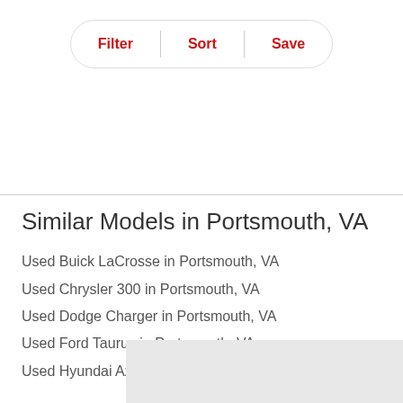[Figure (screenshot): Toolbar with three buttons: Filter, Sort, Save, separated by vertical dividers, inside a pill-shaped bordered container]
Similar Models in Portsmouth, VA
Used Buick LaCrosse in Portsmouth, VA
Used Chrysler 300 in Portsmouth, VA
Used Dodge Charger in Portsmouth, VA
Used Ford Taurus in Portsmouth, VA
Used Hyundai Azera in Portsmouth, VA